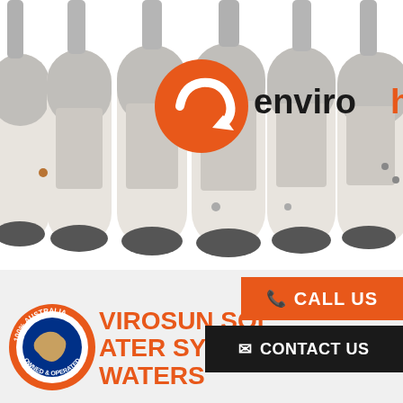[Figure (photo): Multiple Enviroheat heat pump hot water systems arranged side by side, showing cylindrical white/beige units with stainless steel tops. The enviroheat logo (orange circle with arrow and 'enviroheat' text) is displayed prominently in the center top of the image.]
[Figure (logo): 100% Australia Owned & Operated circular badge with Australian flag map in the center, orange border with text around it.]
VIROSUN SOL ATER SYST WATERS
CALL US
CONTACT US